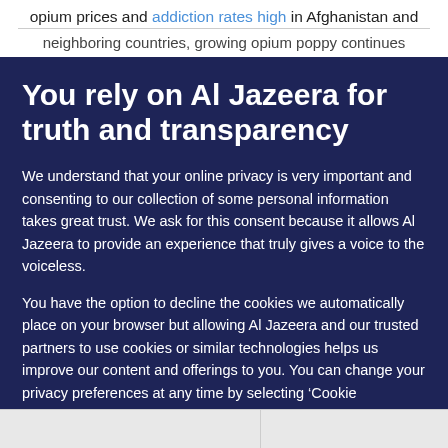opium prices and addiction rates high in Afghanistan and neighboring countries, growing opium poppy continues
You rely on Al Jazeera for truth and transparency
We understand that your online privacy is very important and consenting to our collection of some personal information takes great trust. We ask for this consent because it allows Al Jazeera to provide an experience that truly gives a voice to the voiceless.
You have the option to decline the cookies we automatically place on your browser but allowing Al Jazeera and our trusted partners to use cookies or similar technologies helps us improve our content and offerings to you. You can change your privacy preferences at any time by selecting ‘Cookie preferences’ at the bottom of your screen. To learn more, please view our Cookie Policy.